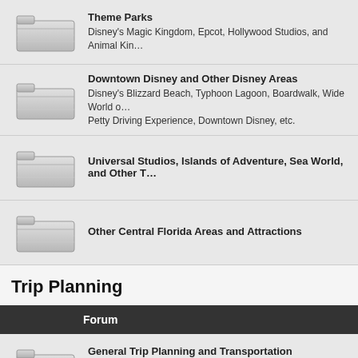Theme Parks — Disney's Magic Kingdom, Epcot, Hollywood Studios, and Animal Kin…
Downtown Disney and Other Disney Areas — Disney's Blizzard Beach, Typhoon Lagoon, Boardwalk, Wide World of Sports, Richard Petty Driving Experience, Downtown Disney, etc.
Universal Studios, Islands of Adventure, Sea World, and Other T…
Other Central Florida Areas and Attractions
Trip Planning
Forum
General Trip Planning and Transportation — When to visit, budgeting, booking air/ground transportation, dining a…